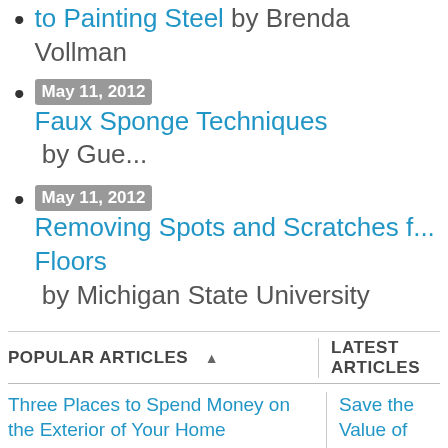to Painting Steel by Brenda Vollman
May 11, 2012 Faux Sponge Techniques by Gue...
May 11, 2012 Removing Spots and Scratches f... Floors by Michigan State University
POPULAR ARTICLES
LATEST ARTICLES
Three Places to Spend Money on the Exterior of Your Home
Save the Value of Your... Professional Foundatio...
When you have the exterior of your home remodeled, you are investing, time, energy and convenience into the project and you
To homeown... the globe, no... seems to be... problematic... foundation re... fact, home r...